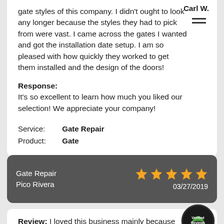gate styles of this company. I didn't ought to look any longer because the styles they had to pick from were vast. I came across the gates I wanted and got the installation date setup. I am so pleased with how quickly they worked to get them installed and the design of the doors!
Carl W.
Response: It's so excellent to learn how much you liked our selection! We appreciate your company!
Service: Gate Repair
Product: Gate
Gate Repair
Pico Rivera
03/27/2019
Review: I loved this business mainly because they had the ability to help me to handle my driveway gate problems, and